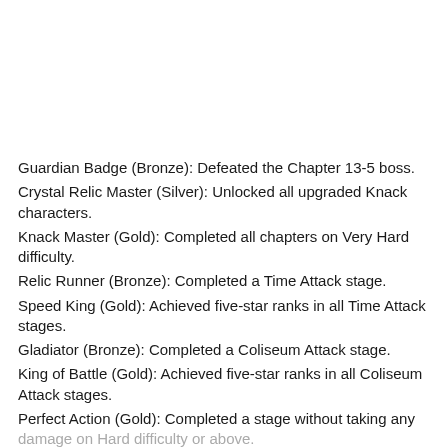Guardian Badge (Bronze): Defeated the Chapter 13-5 boss.
Crystal Relic Master (Silver): Unlocked all upgraded Knack characters.
Knack Master (Gold): Completed all chapters on Very Hard difficulty.
Relic Runner (Bronze): Completed a Time Attack stage.
Speed King (Gold): Achieved five-star ranks in all Time Attack stages.
Gladiator (Bronze): Completed a Coliseum Attack stage.
King of Battle (Gold): Achieved five-star ranks in all Coliseum Attack stages.
Perfect Action (Gold): Completed a stage without taking any damage on Hard difficulty or above.